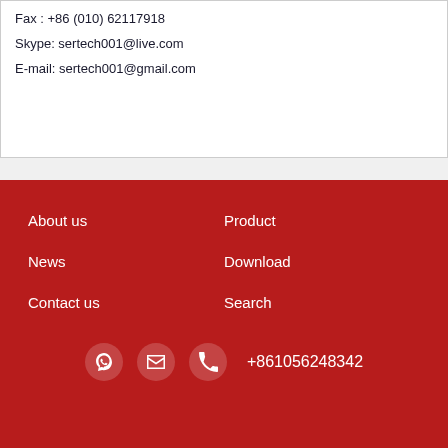Fax : +86 (010) 62117918
Skype: sertech001@live.com
E-mail: sertech001@gmail.com
About us
Product
News
Download
Contact us
Search
+861056248342